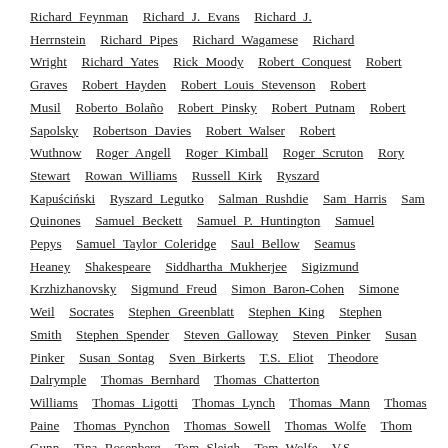Richard Feynman  Richard J. Evans  Richard J. Herrnstein  Richard Pipes  Richard Wagamese  Richard Wright  Richard Yates  Rick Moody  Robert Conquest  Robert Graves  Robert Hayden  Robert Louis Stevenson  Robert Musil  Roberto Bolaño  Robert Pinsky  Robert Putnam  Robert Sapolsky  Robertson Davies  Robert Walser  Robert Wuthnow  Roger Angell  Roger Kimball  Roger Scruton  Rory Stewart  Rowan Williams  Russell Kirk  Ryszard Kapuściński  Ryszard Legutko  Salman Rushdie  Sam Harris  Sam Quinones  Samuel Beckett  Samuel P. Huntington  Samuel Pepys  Samuel Taylor Coleridge  Saul Bellow  Seamus Heaney  Shakespeare  Siddhartha Mukherjee  Sigizmund Krzhizhanovsky  Sigmund Freud  Simon Baron-Cohen  Simone Weil  Socrates  Stephen Greenblatt  Stephen King  Stephen Smith  Stephen Spender  Steven Galloway  Steven Pinker  Susan Pinker  Susan Sontag  Sven Birkerts  T.S. Eliot  Theodore Dalrymple  Thomas Bernhard  Thomas Chatterton Williams  Thomas Ligotti  Thomas Lynch  Thomas Mann  Thomas Paine  Thomas Pynchon  Thomas Sowell  Thomas Wolfe  Thom Gunn  Tina Rosenberg  Tom Sleigh  Tom Wolfe  V.S. Naipaul  Victor Davis Hanson  Victor Hugo  Victor Pelevin  Victor Sebestyen  Virginia Woolf  Vladimir Lenin  Vladimir Nabokov  W.B. Yeats  W.G. Sebald  W.H. Auden  Walker Percy  Wallace Stegner  Walter Benjamin